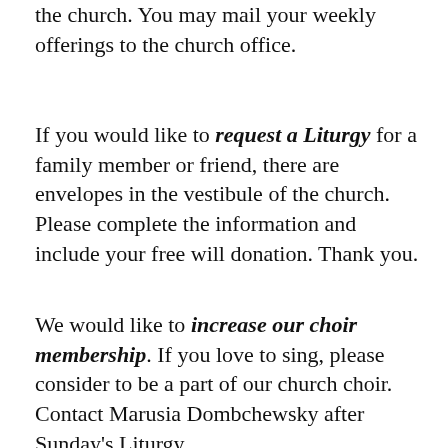the church. You may mail your weekly offerings to the church office.
If you would like to request a Liturgy for a family member or friend, there are envelopes in the vestibule of the church. Please complete the information and include your free will donation. Thank you.
We would like to increase our choir membership. If you love to sing, please consider to be a part of our church choir. Contact Marusia Dombchewsky after Sunday's Liturgy.